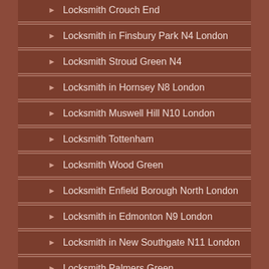Locksmith Crouch End
Locksmith in Finsbury Park N4 London
Locksmith Stroud Green N4
Locksmith in Hornsey N8 London
Locksmith Muswell Hill N10 London
Locksmith Tottenham
Locksmith Wood Green
Locksmith Enfield Borough North London
Locksmith in Edmonton N9 London
Locksmith in New Southgate N11 London
Locksmith Palmers Green